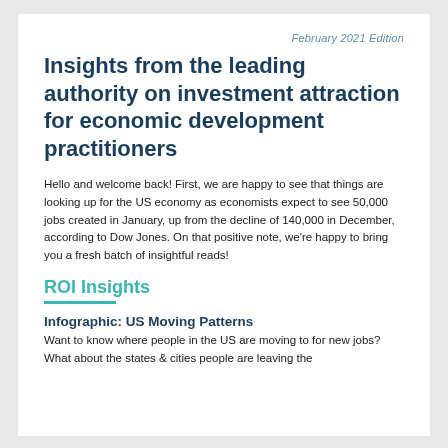February 2021 Edition
Insights from the leading authority on investment attraction for economic development practitioners
Hello and welcome back! First, we are happy to see that things are looking up for the US economy as economists expect to see 50,000 jobs created in January, up from the decline of 140,000 in December, according to Dow Jones. On that positive note, we're happy to bring you a fresh batch of insightful reads!
ROI Insights
Infographic: US Moving Patterns
Want to know where people in the US are moving to for new jobs? What about the states & cities people are leaving the